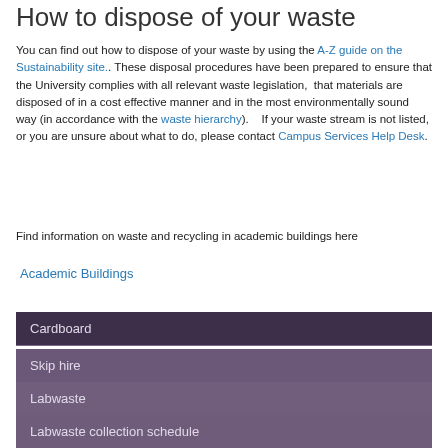How to dispose of your waste
You can find out how to dispose of your waste by using the A-Z guide on the Sustainability site.. These disposal procedures have been prepared to ensure that the University complies with all relevant waste legislation,  that materials are disposed of in a cost effective manner and in the most environmentally sound way (in accordance with the waste hierarchy).   If your waste stream is not listed, or you are unsure about what to do, please contact Campus Services Help Desk.
Find information on waste and recycling in academic buildings here
Academic Buildings
Cardboard
Skip hire
Labwaste
Labwaste collection schedule
Labwaste FAQ